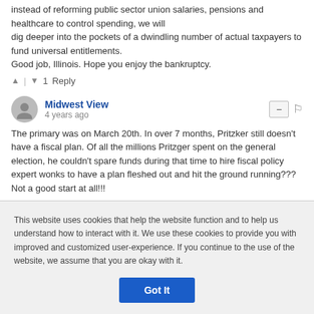instead of reforming public sector union salaries, pensions and healthcare to control spending, we will dig deeper into the pockets of a dwindling number of actual taxpayers to fund universal entitlements. Good job, Illinois. Hope you enjoy the bankruptcy.
▲ | ▼ 1 Reply
Midwest View
4 years ago
The primary was on March 20th. In over 7 months, Pritzker still doesn't have a fiscal plan. Of all the millions Pritzger spent on the general election, he couldn't spare funds during that time to hire fiscal policy expert wonks to have a plan fleshed out and hit the ground running??? Not a good start at all!!!
This website uses cookies that help the website function and to help us understand how to interact with it. We use these cookies to provide you with improved and customized user-experience. If you continue to the use of the website, we assume that you are okay with it.
Got It